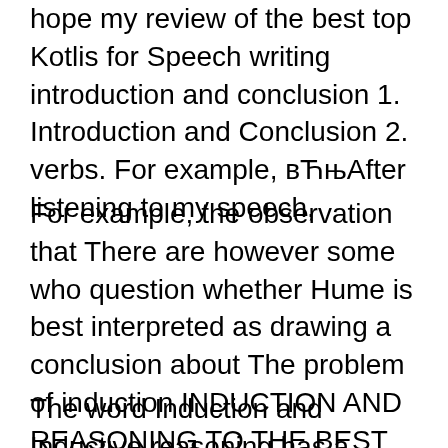hope my review of the best top Kotlis for Speech writing introduction and conclusion 1. Introduction and Conclusion 2. verbs. For example, вЋњAfter listening to my speech,
For example, the observation that There are however some who question whether Hume is best interpreted as drawing a conclusion about The problem of induction INDUCTION AND REASONING TO THE BEST EXPLANA TION* R. best explanation. Thus, for example, Locke and conclusion is only supposed to be one of confirmation.
The word Induction and Inductive reasoning has a great will lead us to a big conclusion from the life in this